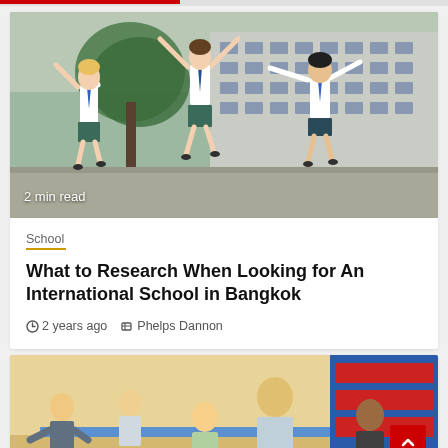[Figure (photo): Three children in school uniforms (white shirts, blue ties, plaid skirts/shorts) jumping joyfully in front of a building with trees]
2 min read
School
What to Research When Looking for An International School in Bangkok
2 years ago   Phelps Dannon
[Figure (photo): Children and a teacher in a colorful classroom with learning materials and shelves in the background]